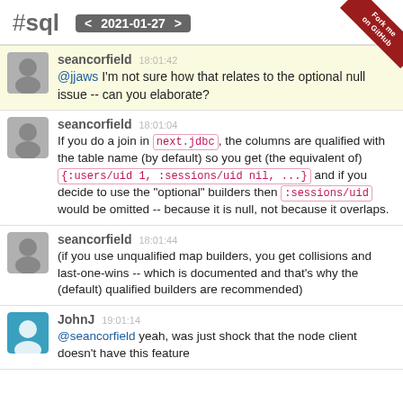#sql  < 2021-01-27 >
seancorfield 18:01:42 @jjaws I'm not sure how that relates to the optional null issue -- can you elaborate?
seancorfield 18:01:04 If you do a join in next.jdbc, the columns are qualified with the table name (by default) so you get (the equivalent of) {:users/uid 1, :sessions/uid nil, ...} and if you decide to use the "optional" builders then :sessions/uid would be omitted -- because it is null, not because it overlaps.
seancorfield 18:01:44 (if you use unqualified map builders, you get collisions and last-one-wins -- which is documented and that's why the (default) qualified builders are recommended)
JohnJ 19:01:14 @seancorfield yeah, was just shock that the node client doesn't have this feature